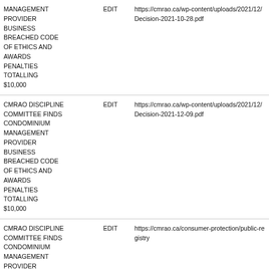| Title | Action | Link |
| --- | --- | --- |
| MANAGEMENT PROVIDER BUSINESS BREACHED CODE OF ETHICS AND AWARDS PENALTIES TOTALLING $10,000 | EDIT | https://cmrao.ca/wp-content/uploads/2021/12/Decision-2021-10-28.pdf |
| CMRAO DISCIPLINE COMMITTEE FINDS CONDOMINIUM MANAGEMENT PROVIDER BUSINESS BREACHED CODE OF ETHICS AND AWARDS PENALTIES TOTALLING $10,000 | EDIT | https://cmrao.ca/wp-content/uploads/2021/12/Decision-2021-12-09.pdf |
| CMRAO DISCIPLINE COMMITTEE FINDS CONDOMINIUM MANAGEMENT PROVIDER BUSINESS BREACHED CODE OF ETHICS AND AWARDS PENALTIES TOTALLING | EDIT | https://cmrao.ca/consumer-protection/public-registry |